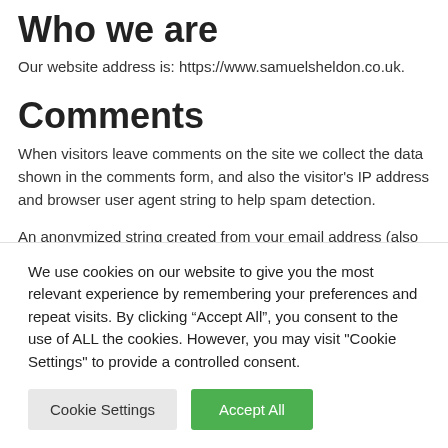Who we are
Our website address is: https://www.samuelsheldon.co.uk.
Comments
When visitors leave comments on the site we collect the data shown in the comments form, and also the visitor’s IP address and browser user agent string to help spam detection.
An anonymized string created from your email address (also called a hash) may be provided to the Gravatar service to see if
We use cookies on our website to give you the most relevant experience by remembering your preferences and repeat visits. By clicking “Accept All”, you consent to the use of ALL the cookies. However, you may visit “Cookie Settings” to provide a controlled consent.